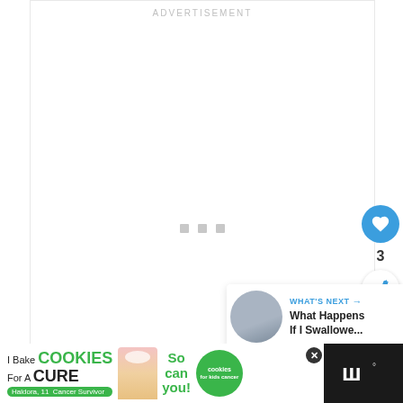ADVERTISEMENT
[Figure (other): Blank white advertisement placeholder area with three small grey loading squares in the center]
[Figure (other): Blue circular heart/favorite button]
3
[Figure (other): White circular share button with blue share icon]
[Figure (other): What's Next panel showing thumbnail of a person and text 'What Happens If I Swallowe...']
[Figure (other): Bottom advertisement banner: I Bake COOKIES For A CURE - Haldora, 11 Cancer Survivor - So can you! - cookies for kids cancer logo]
[Figure (logo): Dark masthead logo area with stylized W mark]